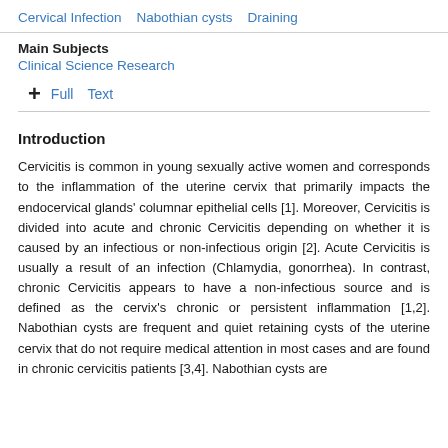Cervical Infection   Nabothian cysts   Draining
Main Subjects
Clinical Science Research
+ Full   Text
Introduction
Cervicitis is common in young sexually active women and corresponds to the inflammation of the uterine cervix that primarily impacts the endocervical glands' columnar epithelial cells [1]. Moreover, Cervicitis is divided into acute and chronic Cervicitis depending on whether it is caused by an infectious or non-infectious origin [2]. Acute Cervicitis is usually a result of an infection (Chlamydia, gonorrhea). In contrast, chronic Cervicitis appears to have a non-infectious source and is defined as the cervix's chronic or persistent inflammation [1,2]. Nabothian cysts are frequent and quiet retaining cysts of the uterine cervix that do not require medical attention in most cases and are found in chronic cervicitis patients [3,4]. Nabothian cysts are